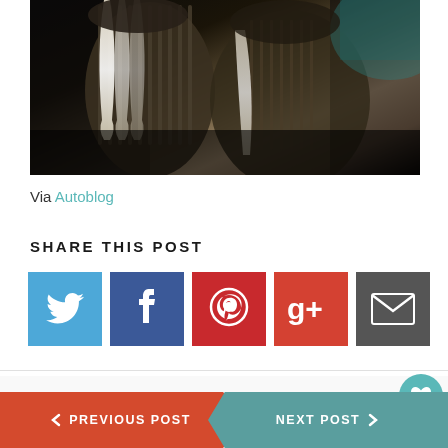[Figure (photo): Car interior photo showing leather seats with white stripe accents in dark tones]
Via Autoblog
SHARE THIS POST
[Figure (infographic): Social share icons: Twitter (blue), Facebook (dark blue), Pinterest (red), Google+ (red-orange), Email (dark grey)]
Tags / 2014, car, classic, cult, Fiat, Fiat 500, new, retro, update, vintage
PREVIOUS POST
NEXT POST